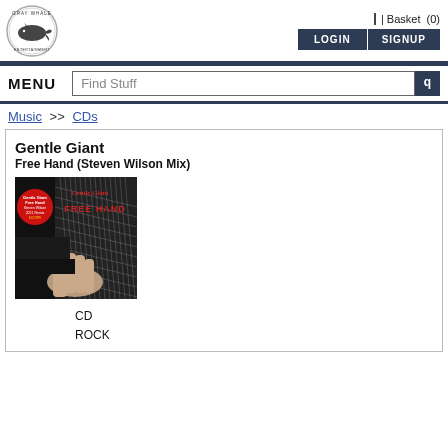[Figure (logo): Gray Whale Entertainment circular logo with whale illustration]
| Basket  (0)
LOGIN  SIGNUP
MENU
Find Stuff
Music >> CDs
Gentle Giant
Free Hand (Steven Wilson Mix)
[Figure (photo): Album cover for Gentle Giant Free Hand (Steven Wilson Mix) - dark cover with hand reaching and text overlay]
CD
ROCK